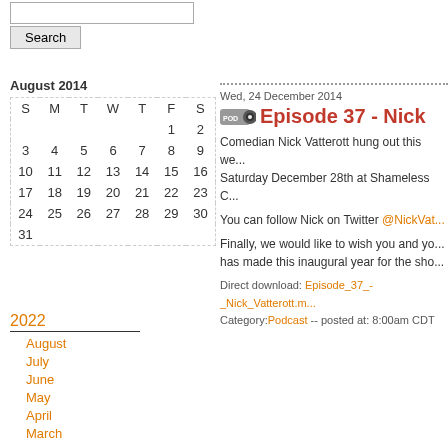[Search input]
Search
| S | M | T | W | T | F | S |
| --- | --- | --- | --- | --- | --- | --- |
|  |  |  |  |  | 1 | 2 |
| 3 | 4 | 5 | 6 | 7 | 8 | 9 |
| 10 | 11 | 12 | 13 | 14 | 15 | 16 |
| 17 | 18 | 19 | 20 | 21 | 22 | 23 |
| 24 | 25 | 26 | 27 | 28 | 29 | 30 |
| 31 |  |  |  |  |  |  |
2022
August
July
June
May
April
March
February
January
2021
December
November
October
September
Wed, 24 December 2014
Episode 37 - Nick
Comedian Nick Vatterott hung out this we... Saturday December 28th at Shameless C...
You can follow Nick on Twitter @NickVat...
Finally, we would like to wish you and yo... has made this inaugural year for the sho...
Direct download: Episode_37_-_Nick_Vatterott.m... Category:Podcast -- posted at: 8:00am CDT